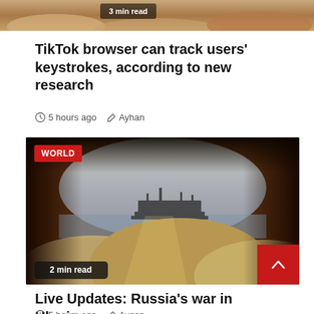[Figure (photo): Partial top image showing a couch/cushions background, partially cut off at the top of the page, with a '3 min read' badge overlay.]
TikTok browser can track users’ keystrokes, according to new research
⏰ 5 hours ago  ✏ Ayhan
[Figure (photo): Photo showing interior of a ship's cargo hold with mounds of grain, with a view through an opening to a large cargo ship on the water. A red 'WORLD' badge is in the top-left corner. A '2 min read' badge is in the bottom-left corner.]
Live Updates: Russia’s war in Ukraine
⏰ 5 hours ago  ✏ Aygen